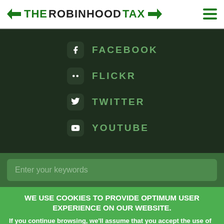THE ROBIN HOOD TAX
FACEBOOK
FLICKR
TWITTER
YOUTUBE
Enter your keywords
WE USE COOKIES TO PROVIDE OPTIMUM USER EXPERIENCE ON OUR WEBSITE.
If you continue browsing, we'll assume that you accept the use of cookies. You can change your cookie settings at any time
Accept